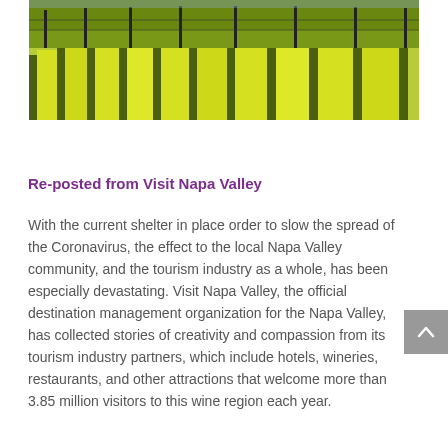[Figure (photo): Aerial view of a vineyard with bright yellow-green mustard flowers growing between rows of grapevines, with wooden posts and wire trellises visible.]
Re-posted from Visit Napa Valley
With the current shelter in place order to slow the spread of the Coronavirus, the effect to the local Napa Valley community, and the tourism industry as a whole, has been especially devastating. Visit Napa Valley, the official destination management organization for the Napa Valley, has collected stories of creativity and compassion from its tourism industry partners, which include hotels, wineries, restaurants, and other attractions that welcome more than 3.85 million visitors to this wine region each year.